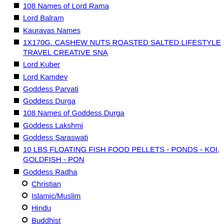108 Names of Lord Rama
Lord Balram
Kauravas Names
1X170G. CASHEW NUTS ROASTED SALTED LIFESTYLE TRAVEL CREATIVE SNA
Lord Kuber
Lord Kamdev
Goddess Parvati
Goddess Durga
108 Names of Goddess Durga
Goddess Lakshmi
Goddess Saraswati
10 LBS FLOATING FISH FOOD PELLETS - PONDS - KOI, GOLDFISH - PON
Goddess Radha
Christian
Islamic/Muslim
Hindu
Buddhist
Sikh
Jain
Norse
Lists
Biblical